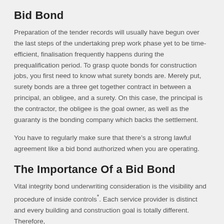Bid Bond
Preparation of the tender records will usually have begun over the last steps of the undertaking prep work phase yet to be time-efficient, finalisation frequently happens during the prequalification period. To grasp quote bonds for construction jobs, you first need to know what surety bonds are. Merely put, surety bonds are a three get together contract in between a principal, an obligee, and a surety. On this case, the principal is the contractor, the obligee is the goal owner, as well as the guaranty is the bonding company which backs the settlement.
You have to regularly make sure that there’s a strong lawful agreement like a bid bond authorized when you are operating.
The Importance Of a Bid Bond
Vital integrity bond underwriting consideration is the visibility and procedure of inside controls*. Each service provider is distinct and every building and construction goal is totally different. Therefore,